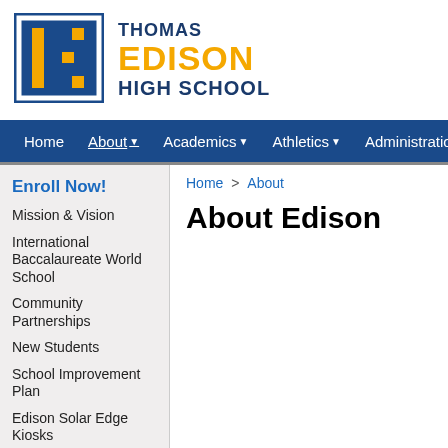[Figure (logo): Thomas Edison High School logo — golden/yellow letter E on blue background with white border]
THOMAS EDISON HIGH SCHOOL
Home  About  Academics  Athletics  Administration  Teachers
Enroll Now!
Mission & Vision
International Baccalaureate World School
Community Partnerships
New Students
School Improvement Plan
Edison Solar Edge Kiosks
Edison Site Council
Home > About
About Edison